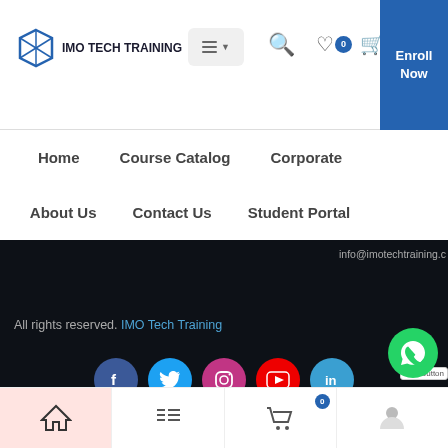IMO TECH TRAINING
Home
Course Catalog
Corporate
About Us
Contact Us
Student Portal
info@imotechtraining.c
All rights reserved. IMO Tech Training
[Figure (other): Social media icons row: Facebook, Twitter, Instagram, YouTube, LinkedIn]
Bottom navigation bar with home, list, cart, and profile icons